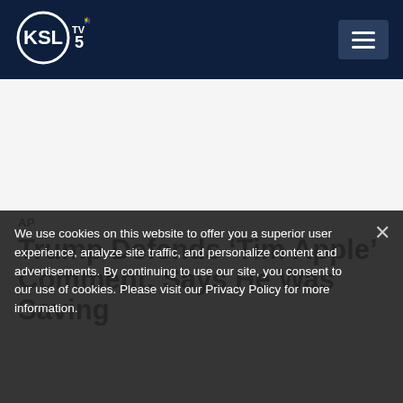[Figure (logo): KSL TV 5 NBC logo in white circle on dark navy header bar]
KSL TV 5 NBC
AP
Trump Defends ‘Tim Apple’ Comment, Says He Was Saving
We use cookies on this website to offer you a superior user experience, analyze site traffic, and personalize content and advertisements. By continuing to use our site, you consent to our use of cookies. Please visit our Privacy Policy for more information.